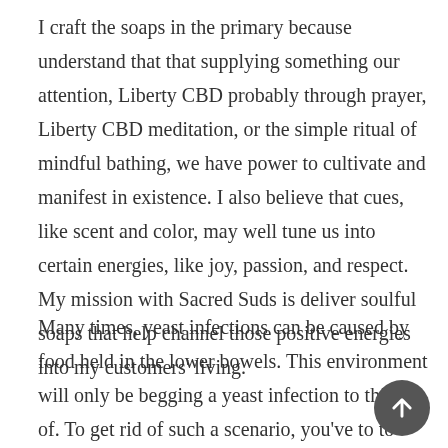I craft the soaps in the primary because understand that that supplying something our attention, Liberty CBD probably through prayer, Liberty CBD meditation, or the simple ritual of mindful bathing, we have power to cultivate and manifest in existence. I also believe that cues, like scent and color, may well tune us into certain energies, like joy, passion, and respect. My mission with Sacred Suds is deliver soulful soaps that help channel those positive energies into my customers' living.
Many times, yeast infections can be caused by food held in the lower bowels. This environment will only be begging a yeast infection to think of. To get rid of such a scenario, you've to to carry on more fiber. Simply because eating more green leafy vegetables like spinach, kale, and eating s Also, Liberty CBD try eating oatmeal or supplement with